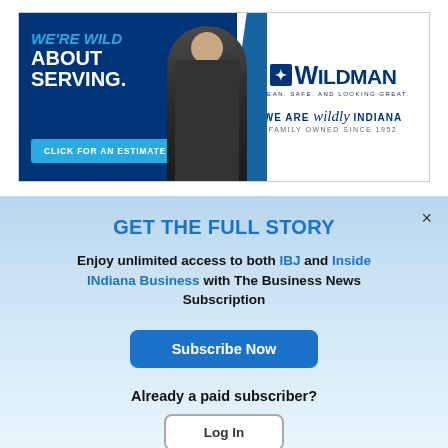[Figure (illustration): Wildman advertisement banner with man holding mop, text 'WE'RE WILD ABOUT SERVING. CLICK FOR AN ESTIMATE', Wildman logo, 'WE ARE wildly INDIANA FAMILY OWNED SINCE 1952']
GET THE FULL STORY
Enjoy unlimited access to both IBJ and Inside INdiana Business with The Business News Subscription
Subscribe Now
Already a paid subscriber?
Log In